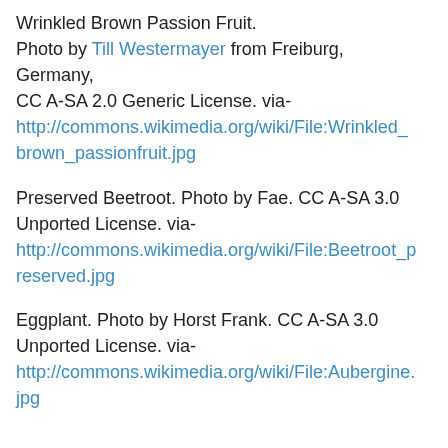Wrinkled Brown Passion Fruit. Photo by Till Westermayer from Freiburg, Germany, CC A-SA 2.0 Generic License. via- http://commons.wikimedia.org/wiki/File:Wrinkled_brown_passionfruit.jpg
Preserved Beetroot. Photo by Fae. CC A-SA 3.0 Unported License. via- http://commons.wikimedia.org/wiki/File:Beetroot_preserved.jpg
Eggplant. Photo by Horst Frank. CC A-SA 3.0 Unported License. via- http://commons.wikimedia.org/wiki/File:Aubergine.jpg